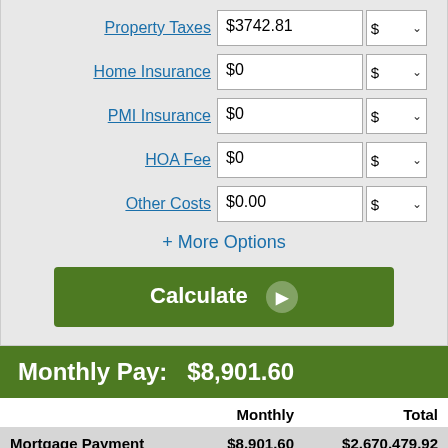Property Taxes $3742.81 $ ▾
Home Insurance $0 $ ▾
PMI Insurance $0 $ ▾
HOA Fee $0 $ ▾
Other Costs $0.00 $ ▾
+ More Options
Calculate ▶
Monthly Pay:   $8,901.60
|  | Monthly | Total |
| --- | --- | --- |
| Mortgage Payment | $8,901.60 | $2,670,479.92 |
| Property Tax | $311.90 | $93,570.25 |
| Total Out-of-Pocket | $9,213.50 | $2,764,050.17 |